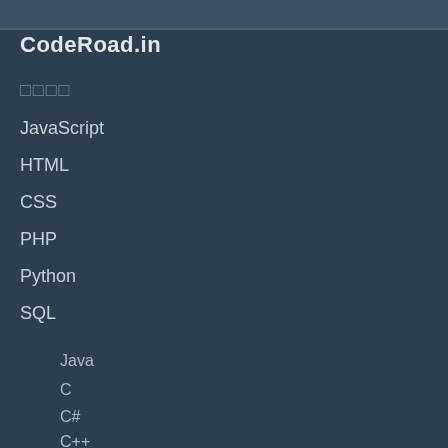CodeRoad.in
□□□□
JavaScript
HTML
CSS
PHP
Python
SQL
Java
C
C#
C++
R